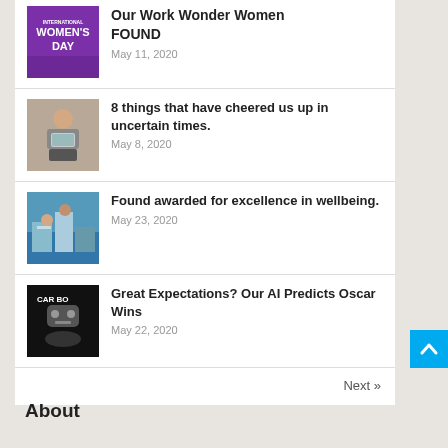Our Work Wonder Women FOUND — May 11, 2020
8 things that have cheered us up in uncertain times. — May 8, 2020
Found awarded for excellence in wellbeing. — May 23, 2020
Great Expectations? Our AI Predicts Oscar Wins — May 22, 2020
Next »
About